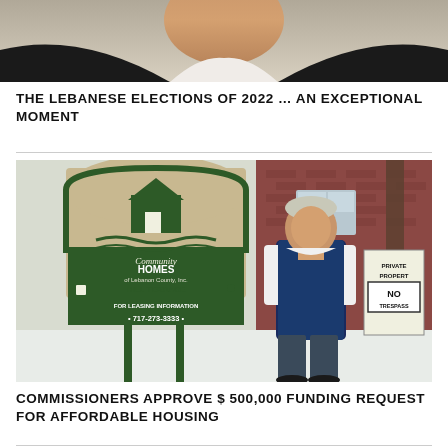[Figure (photo): Close-up photo of a person in a dark jacket and light-colored shirt, cropped at neck/shoulder level, blurred face]
THE LEBANESE ELECTIONS OF 2022 … AN EXCEPTIONAL MOMENT
[Figure (photo): Photo of a man in a navy vest standing in front of a Community Homes of Lebanon County, Inc. Hill Terrace sign with phone number 717-273-3333, with a brick building in the background and snow on the ground]
COMMISSIONERS APPROVE $ 500,000 FUNDING REQUEST FOR AFFORDABLE HOUSING